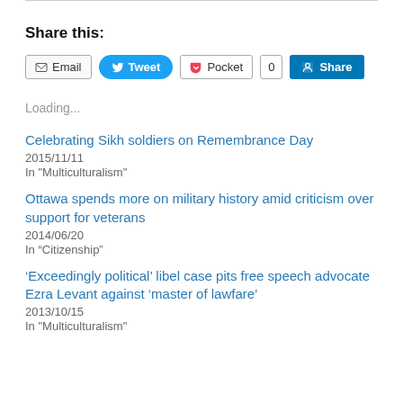Share this:
[Figure (screenshot): Social sharing buttons: Email, Tweet, Pocket (with count 0), LinkedIn Share]
Loading...
Celebrating Sikh soldiers on Remembrance Day
2015/11/11
In "Multiculturalism"
Ottawa spends more on military history amid criticism over support for veterans
2014/06/20
In “Citizenship”
‘Exceedingly political’ libel case pits free speech advocate Ezra Levant against ‘master of lawfare’
2013/10/15
In "Multiculturalism"